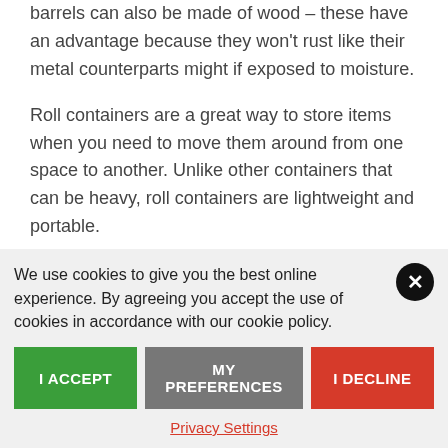barrels can also be made of wood – these have an advantage because they won't rust like their metal counterparts might if exposed to moisture.
Roll containers are a great way to store items when you need to move them around from one space to another. Unlike other containers that can be heavy, roll containers are lightweight and portable.
We use cookies to give you the best online experience. By agreeing you accept the use of cookies in accordance with our cookie policy.
I ACCEPT
MY PREFERENCES
I DECLINE
Privacy Settings